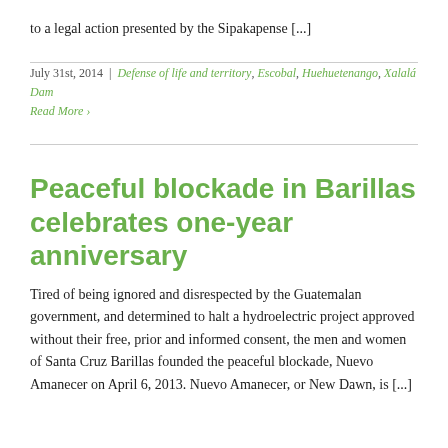to a legal action presented by the Sipakapense [...]
July 31st, 2014 | Defense of life and territory, Escobal, Huehuetenango, Xalalá Dam
Read More ›
Peaceful blockade in Barillas celebrates one-year anniversary
Tired of being ignored and disrespected by the Guatemalan government, and determined to halt a hydroelectric project approved without their free, prior and informed consent, the men and women of Santa Cruz Barillas founded the peaceful blockade, Nuevo Amanecer on April 6, 2013. Nuevo Amanecer, or New Dawn, is [...]